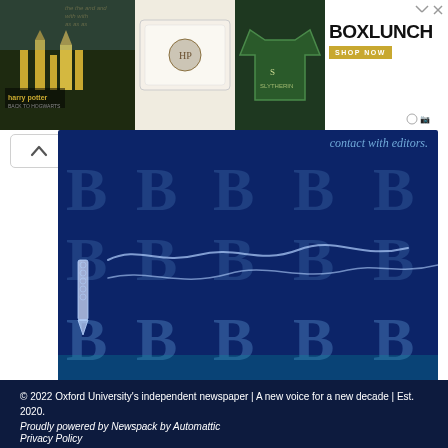[Figure (photo): Advertisement banner for BoxLunch Harry Potter merchandise, showing Hogwarts castle, Harry Potter branded items (notebook/folders), green Slytherin apparel, and the BoxLunch logo with 'Shop Now' button]
[Figure (illustration): Dark blue card/panel showing a pen/pencil illustration with cursive writing lines and watermark letter B pattern, with text 'contact with editors.' visible at top right]
Load More...
Follow on Instagram
© 2022 Oxford University's independent newspaper | A new voice for a new decade | Est. 2020.
Proudly powered by Newspack by Automattic
Privacy Policy